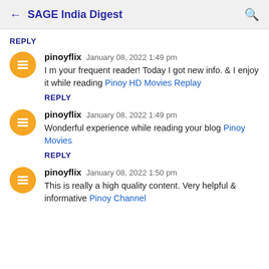SAGE India Digest
REPLY
pinoyflix  January 08, 2022 1:49 pm
I m your frequent reader! Today I got new info. & I enjoy it while reading Pinoy HD Movies Replay
REPLY
pinoyflix  January 08, 2022 1:49 pm
Wonderful experience while reading your blog Pinoy Movies
REPLY
pinoyflix  January 08, 2022 1:50 pm
This is really a high quality content. Very helpful & informative Pinoy Channel